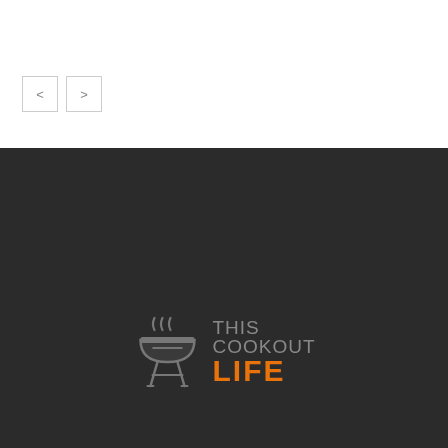[Figure (illustration): Navigation previous and next arrow buttons (< and >) with light gray borders on white background]
[Figure (logo): This Cookout Life logo: grill icon in gray with steam lines, text 'THIS COOKOUT' in gray uppercase and 'LIFE' in orange bold uppercase, on dark charcoal background]
It's true what they say: There's no place like home. At ThisCookoutLife.com, we're here to help you make the most of your own backyard by connecting you with the skills and tools necessary to take your grilling skills to the next level.
Amazon Associates Program